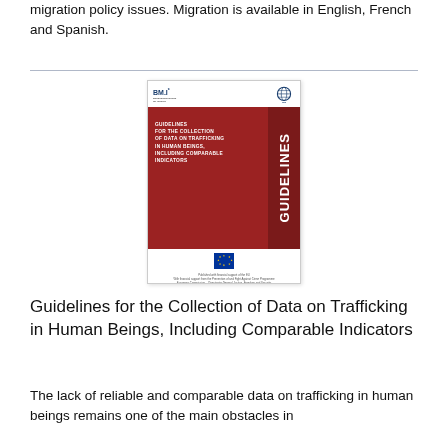migration policy issues. Migration is available in English, French and Spanish.
[Figure (illustration): Book cover: Guidelines for the Collection of Data on Trafficking in Human Beings, Including Comparable Indicators. Red cover with white vertical 'GUIDELINES' text on spine, BM.I and IOM logos at top, EU logo at bottom.]
Guidelines for the Collection of Data on Trafficking in Human Beings, Including Comparable Indicators
The lack of reliable and comparable data on trafficking in human beings remains one of the main obstacles in